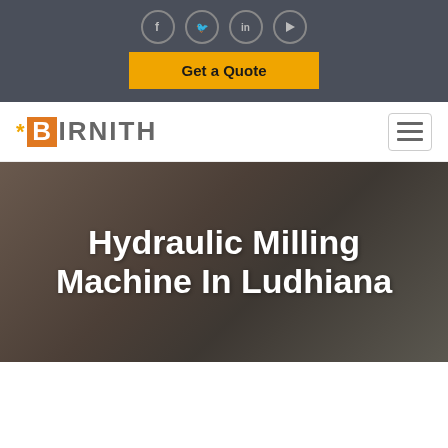[Figure (screenshot): Dark top bar with social media icons (Facebook, Twitter, LinkedIn, YouTube) in circular borders, and an orange 'Get a Quote' button below them]
[Figure (logo): Birnith logo with asterisk, orange B in box, and gray IRNITH text, with hamburger menu icon on the right]
Hydraulic Milling Machine In Ludhiana
[Figure (photo): Hero background photo showing an interior scene with a fireplace and couch, overlaid with dark tint]